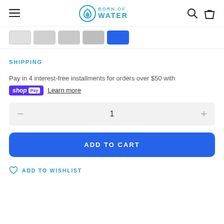Born of Water — navigation header with hamburger menu, logo, search and cart icons
[Figure (screenshot): Color swatch selector strip with 5 color swatches, last one (blue) selected/active]
SHIPPING
Pay in 4 interest-free installments for orders over $50 with
shop Pay  Learn more
1
ADD TO CART
ADD TO WISHLIST